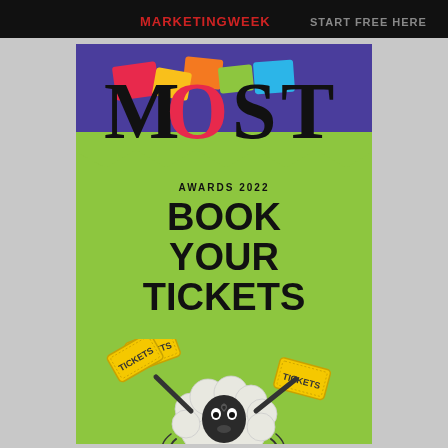[Figure (illustration): Top black banner strip with partial red/white text visible]
[Figure (illustration): MOST Awards 2022 promotional poster with purple header, colorful geometric shapes behind MOST logo text, green lower section with 'BOOK YOUR TICKETS' in bold black text, and a cartoon sheep holding two yellow TICKETS signs at the bottom]